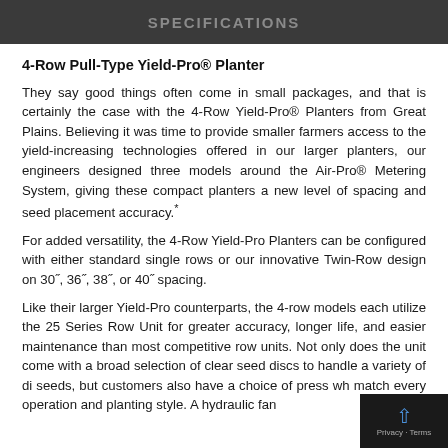SPECIFICATIONS
4-Row Pull-Type Yield-Pro® Planter
They say good things often come in small packages, and that is certainly the case with the 4-Row Yield-Pro® Planters from Great Plains. Believing it was time to provide smaller farmers access to the yield-increasing technologies offered in our larger planters, our engineers designed three models around the Air-Pro® Metering System, giving these compact planters a new level of spacing and seed placement accuracy.*
For added versatility, the 4-Row Yield-Pro Planters can be configured with either standard single rows or our innovative Twin-Row design on 30", 36", 38", or 40" spacing.
Like their larger Yield-Pro counterparts, the 4-row models each utilize the 25 Series Row Unit for greater accuracy, longer life, and easier maintenance than most competitive row units. Not only does the unit come with a broad selection of clear seed discs to handle a variety of di seeds, but customers also have a choice of press wh match every operation and planting style. A hydraulic fan